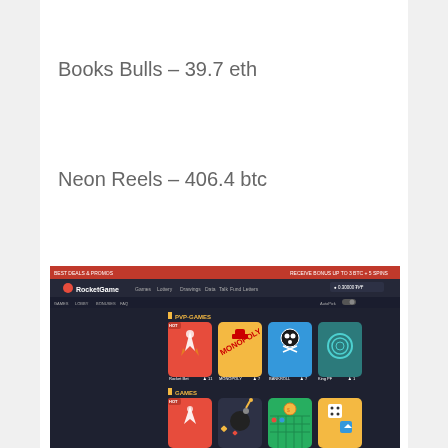Books Bulls – 39.7 eth
Neon Reels – 406.4 btc
[Figure (screenshot): Screenshot of RocketGame online gaming platform showing PVP-GAMES and GAMES sections with colorful game tiles including Rocket Bet, Monopoly, Bankroll, King PF, and various other games on a dark background.]